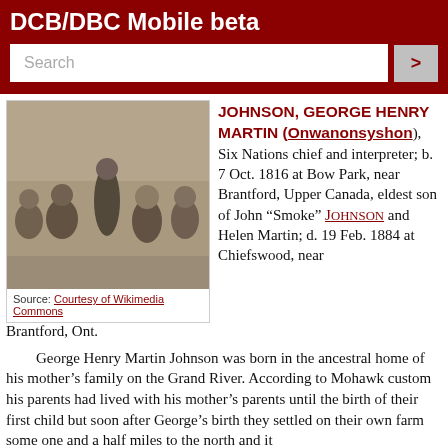DCB/DBC Mobile beta
[Figure (photo): Black and white historical photograph of a group of people seated outdoors, likely Six Nations chiefs and associates, circa 19th century.]
Source: Courtesy of Wikimedia Commons
JOHNSON, GEORGE HENRY MARTIN (Onwanonsyshon), Six Nations chief and interpreter; b. 7 Oct. 1816 at Bow Park, near Brantford, Upper Canada, eldest son of John “Smoke” Johnson and Helen Martin; d. 19 Feb. 1884 at Chiefswood, near Brantford, Ont.
George Henry Martin Johnson was born in the ancestral home of his mother’s family on the Grand River. According to Mohawk custom his parents had lived with his mother’s parents until the birth of their first child but soon after George’s birth they settled on their own farm some one and a half miles to the north and it